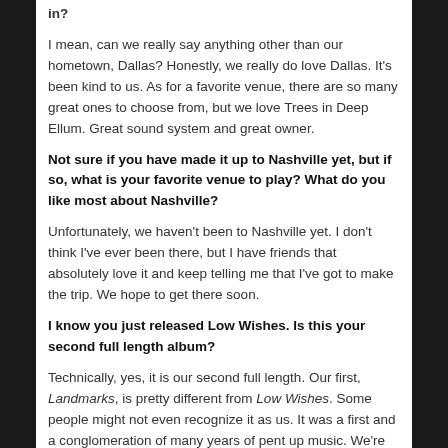in?
I mean, can we really say anything other than our hometown, Dallas? Honestly, we really do love Dallas. It's been kind to us. As for a favorite venue, there are so many great ones to choose from, but we love Trees in Deep Ellum. Great sound system and great owner.
Not sure if you have made it up to Nashville yet, but if so, what is your favorite venue to play? What do you like most about Nashville?
Unfortunately, we haven't been to Nashville yet. I don't think I've ever been there, but I have friends that absolutely love it and keep telling me that I've got to make the trip. We hope to get there soon.
I know you just released Low Wishes. Is this your second full length album?
Technically, yes, it is our second full length. Our first, Landmarks, is pretty different from Low Wishes. Some people might not even recognize it as us. It was a first and a conglomeration of many years of pent up music. We're glad we wrote it, but we're glad to be past it at the same time.